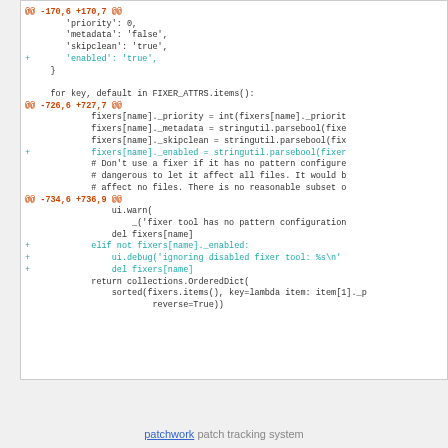[Figure (screenshot): Code diff showing Python code patch with hunk headers, added lines in teal, context lines in black, on white background.]
patchwork patch tracking system